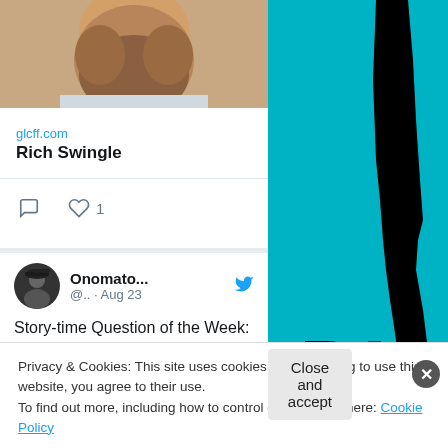[Figure (photo): Profile photo showing a bearded man from chin/neck area]
glcff.com
Rich Swingle
[Figure (other): Comment and like icons with count of 1]
[Figure (photo): Twitter avatar of Onomatopoeia user, man with dark cap]
Onomato... @.. · Aug 23
Story-time Question of the Week: Which character in #Shakespeare's 'Winter's Tale' was your favorite?
[Figure (photo): Right side teal background with black silhouette of a person's leg/body and large DIA text]
Privacy & Cookies: This site uses cookies. By continuing to use this website, you agree to their use.
To find out more, including how to control cookies, see here: Cookie Policy
Close and accept